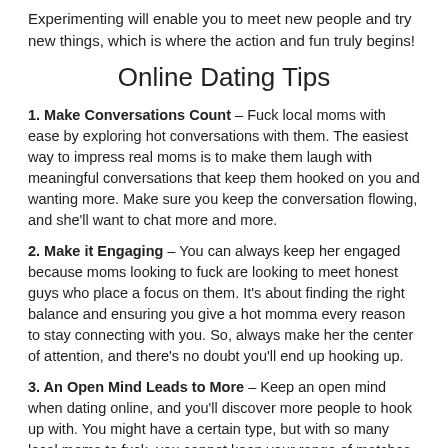Experimenting will enable you to meet new people and try new things, which is where the action and fun truly begins!
Online Dating Tips
1. Make Conversations Count – Fuck local moms with ease by exploring hot conversations with them. The easiest way to impress real moms is to make them laugh with meaningful conversations that keep them hooked on you and wanting more. Make sure you keep the conversation flowing, and she'll want to chat more and more.
2. Make it Engaging – You can always keep her engaged because moms looking to fuck are looking to meet honest guys who place a focus on them. It's about finding the right balance and ensuring you give a hot momma every reason to stay connecting with you. So, always make her the center of attention, and there's no doubt you'll end up hooking up.
3. An Open Mind Leads to More – Keep an open mind when dating online, and you'll discover more people to hook up with. You might have a certain type, but with so many local moms to fuck, you cannot keep your range of matches small and narrow. Explore as many singles as possible, and things will get really